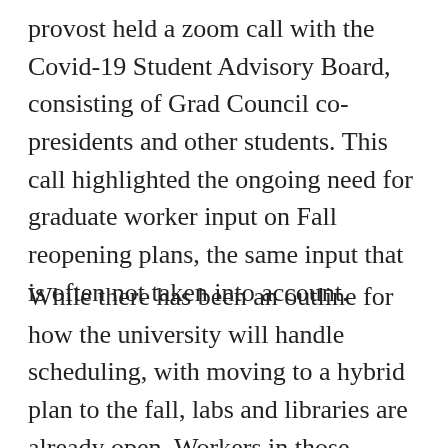provost held a zoom call with the Covid-19 Student Advisory Board, consisting of Grad Council co-presidents and other students. This call highlighted the ongoing need for graduate worker input on Fall reopening plans, the same input that is often not taken into account.
While there has been an outline for how the university will handle scheduling, with moving to a hybrid plan to the fall, labs and libraries are already open. Workers in those settings have a variety of safety concerns, but are left with uncertainty and a lack of guidance. Similarly, with the sudden shift online last Spring, many